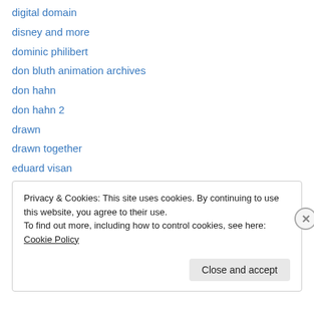digital domain
disney and more
dominic philibert
don bluth animation archives
don hahn
don hahn 2
drawn
drawn together
eduard visan
emanuel
enchanted doll
enrique fernandez
ernesto melo 1
Privacy & Cookies: This site uses cookies. By continuing to use this website, you agree to their use. To find out more, including how to control cookies, see here: Cookie Policy